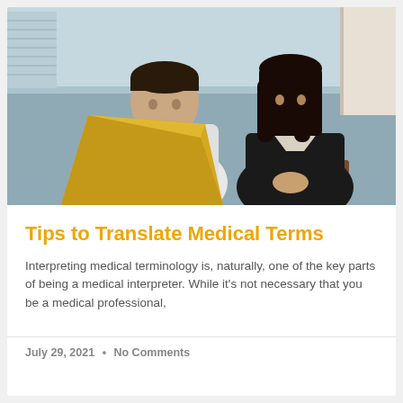[Figure (photo): A male doctor in white coat with stethoscope holding a yellow folder, showing paperwork to a female patient in a black jacket, seated in a clinical waiting area with a blue/grey background.]
Tips to Translate Medical Terms
Interpreting medical terminology is, naturally, one of the key parts of being a medical interpreter. While it's not necessary that you be a medical professional,
July 29, 2021  •  No Comments